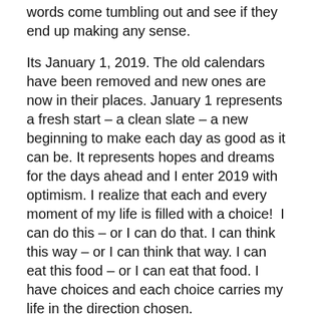words come tumbling out and see if they end up making any sense.
Its January 1, 2019. The old calendars have been removed and new ones are now in their places. January 1 represents a fresh start – a clean slate – a new beginning to make each day as good as it can be. It represents hopes and dreams for the days ahead and I enter 2019 with optimism. I realize that each and every moment of my life is filled with a choice!  I can do this – or I can do that. I can think this way – or I can think that way. I can eat this food – or I can eat that food. I have choices and each choice carries my life in the direction chosen.
For 2019 I am not making any resolutions because I never can keep them. But if I can just do one thing, it would be to take each moment and THINK about the choice I have to make right then and there. And if I make the better...